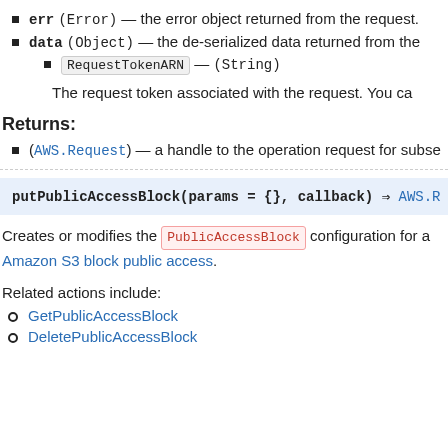err (Error) — the error object returned from the request.
data (Object) — the de-serialized data returned from the
RequestTokenARN — (String)
The request token associated with the request. You ca
Returns:
(AWS.Request) — a handle to the operation request for subse
putPublicAccessBlock(params = {}, callback) ⇒ AWS.R
Creates or modifies the PublicAccessBlock configuration for a Amazon S3 block public access.
Related actions include:
GetPublicAccessBlock
DeletePublicAccessBlock